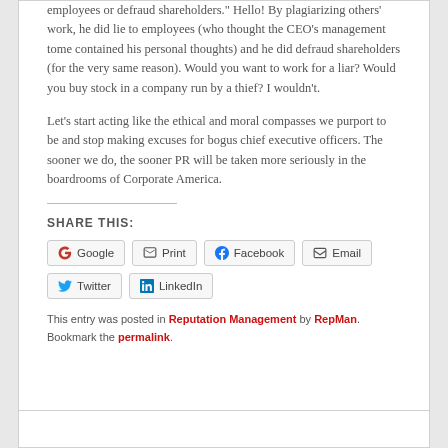employees or defraud shareholders." Hello! By plagiarizing others' work, he did lie to employees (who thought the CEO's management tome contained his personal thoughts) and he did defraud shareholders (for the very same reason). Would you want to work for a liar? Would you buy stock in a company run by a thief? I wouldn't.
Let's start acting like the ethical and moral compasses we purport to be and stop making excuses for bogus chief executive officers. The sooner we do, the sooner PR will be taken more seriously in the boardrooms of Corporate America.
SHARE THIS:
Google  Print  Facebook  Email  Twitter  LinkedIn
This entry was posted in Reputation Management by RepMan. Bookmark the permalink.